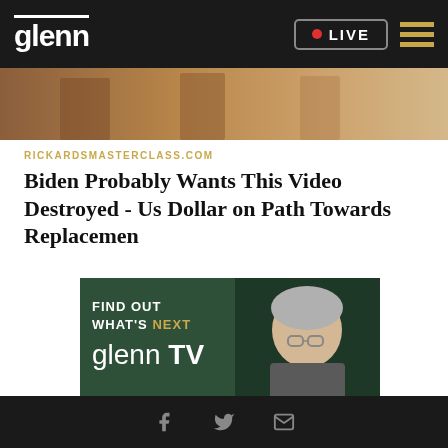glenn  LIVE
[Figure (photo): Partial image visible at top of article — brown/tan background, appears to be lower portion of a person or figures]
RICKARDSMASTERCLASS.COM
Biden Probably Wants This Video Destroyed - Us Dollar on Path Towards Replacemen
[Figure (advertisement): Glenn TV advertisement on dark green background showing a man with glasses and text: FIND OUT WHAT'S NEXT, glenn TV]
Facebook  Twitter  Email (social share icons)